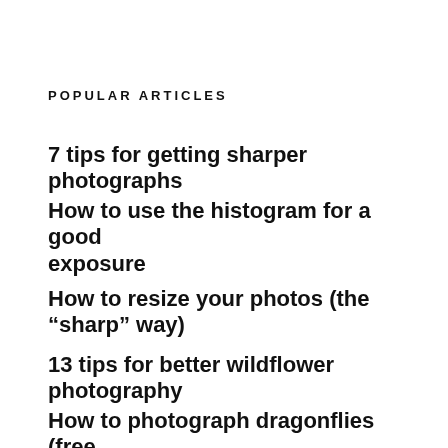POPULAR ARTICLES
7 tips for getting sharper photographs
How to use the histogram for a good exposure
How to resize your photos (the “sharp” way)
13 tips for better wildflower photography
How to photograph dragonflies (free eBook!)
RAW vs JPEG: Who wins?